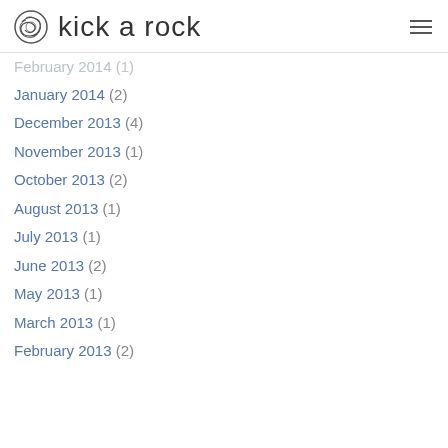kick a rock
February 2014 (1)
January 2014 (2)
December 2013 (4)
November 2013 (1)
October 2013 (2)
August 2013 (1)
July 2013 (1)
June 2013 (2)
May 2013 (1)
March 2013 (1)
February 2013 (2)